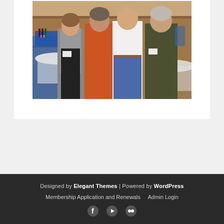[Figure (photo): Group photo of four people standing together indoors at what appears to be a banquet or event hall with round tables covered in white tablecloths. From left: a woman in a gray cardigan and black dress, a man in a red/orange shirt, a young man in a white shirt and jeans with a belt buckle, and an older man in a dark olive/brown sweater with a name badge.]
Designed by Elegant Themes | Powered by WordPress
Membership Application and Renewals   Admin Login